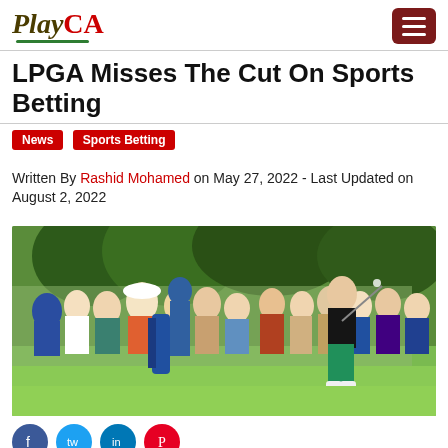PlayCA
LPGA Misses The Cut On Sports Betting
News  Sports Betting
Written By Rashid Mohamed on May 27, 2022 - Last Updated on August 2, 2022
[Figure (photo): LPGA golf player taking a swing on a golf course with a crowd of spectators and a caddie with a golf bag in the background. The player is wearing green pants and a dark jacket.]